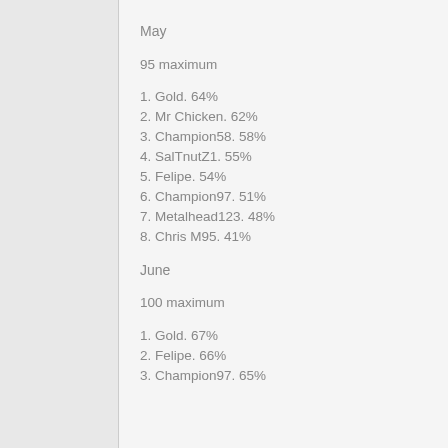May
95 maximum
1. Gold. 64%
2. Mr Chicken. 62%
3. Champion58. 58%
4. SalTnutZ1. 55%
5. Felipe. 54%
6. Champion97. 51%
7. Metalhead123. 48%
8. Chris M95. 41%
June
100 maximum
1. Gold. 67%
2. Felipe. 66%
3. Champion97. 65%